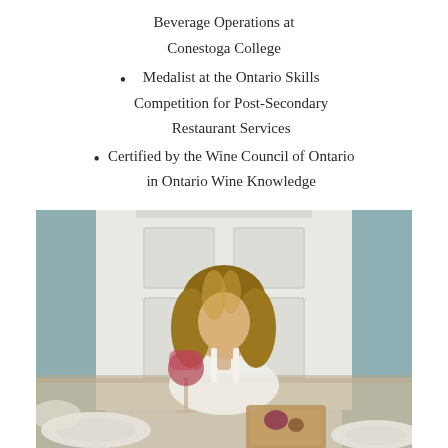Beverage Operations at Conestoga College
Medalist at the Ontario Skills Competition for Post-Secondary Restaurant Services
Certified by the Wine Council of Ontario in Ontario Wine Knowledge
[Figure (photo): A young woman with long wavy blonde-brown hair, wearing a white sleeveless top, sitting at a dining table holding a glass of red wine. The background shows a white door in a light-colored room. In the foreground are plates, a cutting board, and bowls with food.]